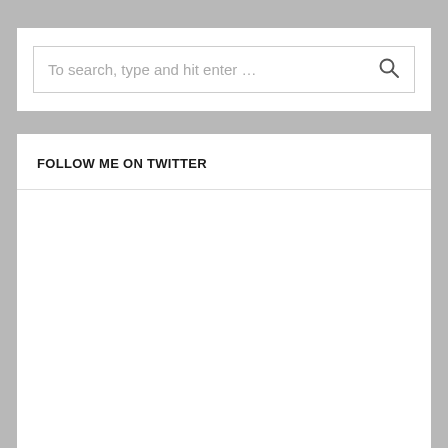To search, type and hit enter …
FOLLOW ME ON TWITTER